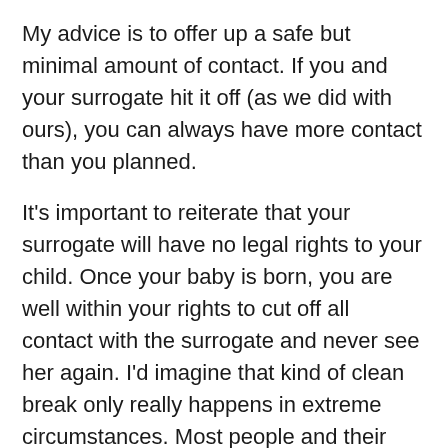My advice is to offer up a safe but minimal amount of contact. If you and your surrogate hit it off (as we did with ours), you can always have more contact than you planned.
It's important to reiterate that your surrogate will have no legal rights to your child. Once your baby is born, you are well within your rights to cut off all contact with the surrogate and never see her again. I'd imagine that kind of clean break only really happens in extreme circumstances. Most people and their surrogates form a bond through the process and want to stay in touch afterward.
Once your child is old enough to understand how he or she came into the world, they'll likely be curious about who their surrogate was, so it helps if you've kept up the relationship.